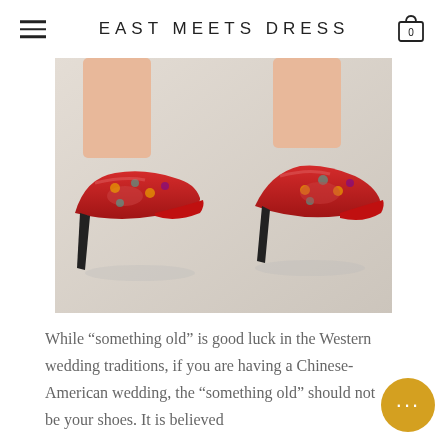EAST MEETS DRESS
[Figure (photo): Two red floral brocade high-heel pumps (stilettos) photographed from the side against a light grey background. The shoes feature a red satin body with colorful floral embroidery pattern.]
While “something old” is good luck in the Western wedding traditions, if you are having a Chinese-American wedding, the “something old” should not be your shoes. It is believed